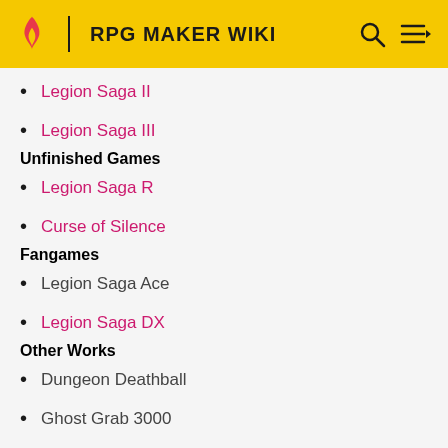RPG MAKER WIKI
Legion Saga II
Legion Saga III
Unfinished Games
Legion Saga R
Curse of Silence
Fangames
Legion Saga Ace
Legion Saga DX
Other Works
Dungeon Deathball
Ghost Grab 3000
Switch and Shoot
Lun Calsari